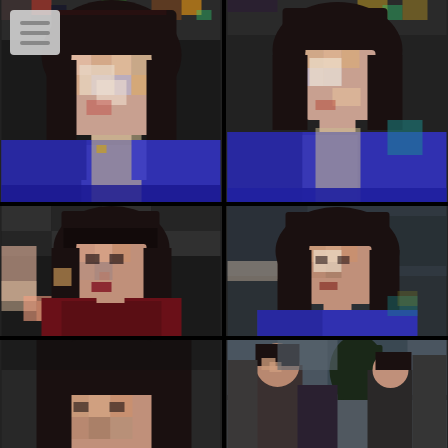[Figure (photo): Grid of pixelated/degraded images showing a woman with dark hair wearing a blue jacket. Top-left: close-up pixelated face and blue jacket. Top-right: slightly more zoomed-out, same woman. Middle-left: woman in dark red/maroon top with pixelated face. Middle-right: same woman in blue jacket, side angle. Bottom-left: partial view of dark hair. Bottom-right: outdoor scene with people.]